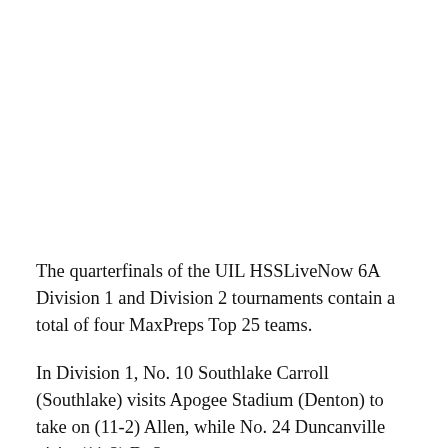The quarterfinals of the UIL HSSLiveNow 6A Division 1 and Division 2 tournaments contain a total of four MaxPreps Top 25 teams.
In Division 1, No. 10 Southlake Carroll (Southlake) visits Apogee Stadium (Denton) to take on (11-2) Allen, while No. 24 Duncanville visits (11-2) DeSoto